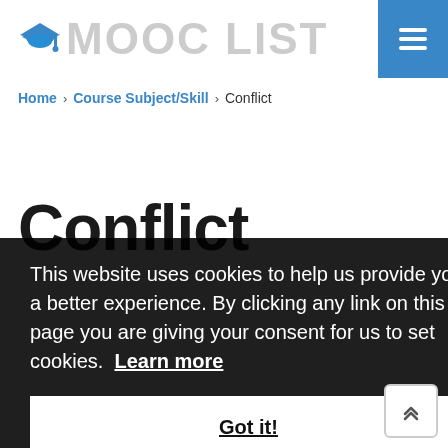[Figure (logo): MOOC LIST logo with graduation cap icon and grey text]
Home › Course Subject/Skill › Conflict
Conflict
This website uses cookies to help us provide you a better experience. By clicking any link on this page you are giving your consent for us to set cookies.  Learn more
Got it!